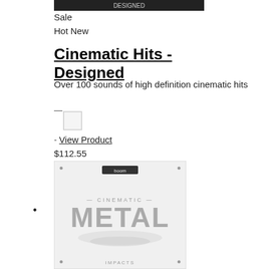[Figure (screenshot): Product image thumbnail at top showing 'Designed' label bar in black and white]
Sale
Hot New
Cinematic Hits - Designed
Over 100 sounds of high definition cinematic hits
—
[Figure (other): Small checkbox/thumbnail image placeholder]
- View Product
$112.55
[Figure (photo): Product cover art for Cinematic Metal Impacts by BOOM library showing large silver metallic letters spelling METAL on a white background with dust/debris]
•
Sale